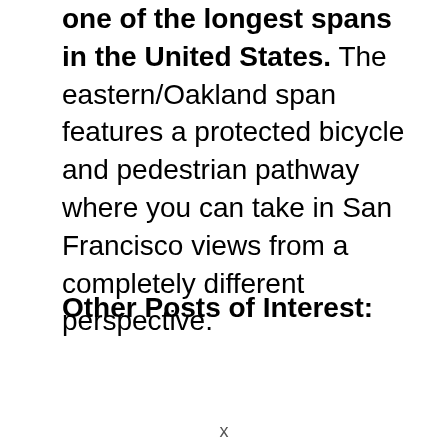one of the longest spans in the United States. The eastern/Oakland span features a protected bicycle and pedestrian pathway where you can take in San Francisco views from a completely different perspective.
Other Posts of Interest:
x